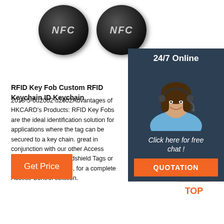[Figure (photo): Two black circular NFC key fobs viewed from above, showing 'NFC' text on their surface]
[Figure (photo): 24/7 Online chat widget with a smiling woman wearing a headset, dark blue background, 'Click here for free chat!' text and orange QUOTATION button]
RFID Key Fob Custom RFID Keychain ID Keychain
2018-5-6u2002·u2002Advantages of HKCARD's Products: RFID Key Fobs are the ideal identification solution for applications where the tag can be secured to a key chain. great in conjunction with our other Access Control products. Windshield Tags or RFID Lanyard Badges, for a complete Access Control solution.
Get Price
[Figure (illustration): Orange and white 'TOP' back-to-top icon with dotted triangle above text]